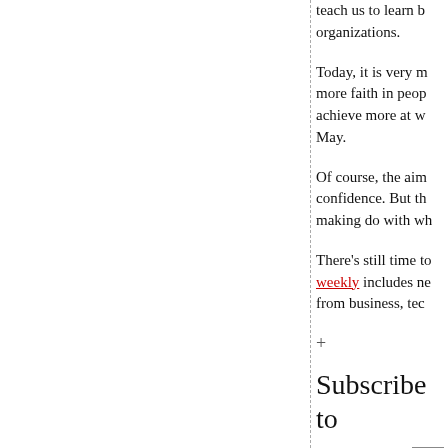teach us to learn b... organizations.
Today, it is very m... more faith in peop... achieve more at w... May.
Of course, the aim... confidence. But th... making do with wh...
There's still time to... weekly includes ne... from business, tech...
+
Subscribe to
Email Address